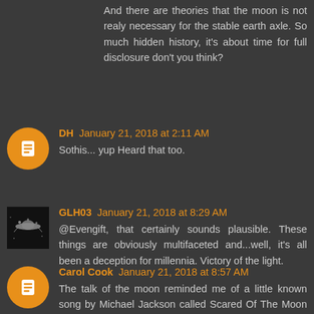And there are theories that the moon is not realy necessary for the stable earth axle. So much hidden history, it's about time for full disclosure don't you think?
DH January 21, 2018 at 2:11 AM
Sothis... yup Heard that too.
GLH03 January 21, 2018 at 8:29 AM
@Evengift, that certainly sounds plausible. These things are obviously multifaceted and...well, it's all been a deception for millennia. Victory of the light.
Carol Cook January 21, 2018 at 8:57 AM
The talk of the moon reminded me of a little known song by Michael Jackson called Scared Of The Moon https://www.youtube.com/watch?